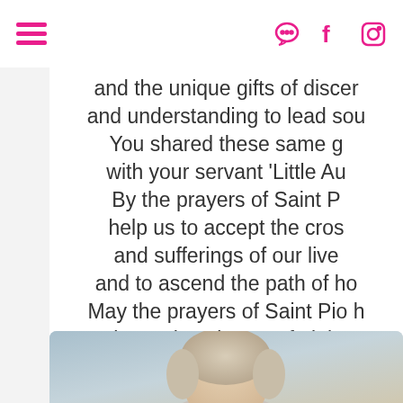[hamburger menu] [chat icon] [facebook icon] [instagram icon]
and the unique gifts of discern
and understanding to lead soul
You shared these same g
with your servant 'Little Au
By the prayers of Saint P
help us to accept the cros
and sufferings of our live
and to ascend the path of ho
May the prayers of Saint Pio h
to know the witness of Little A
and give you glory
now and forever.  Ame
[Figure (photo): Partial photo of a person with light/grey hair, visible from roughly neck up, with a soft blue-grey background.]